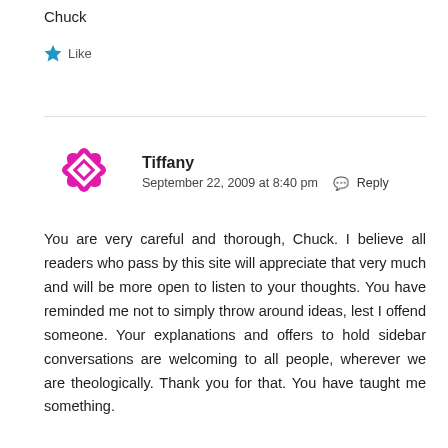Chuck
[Figure (other): Blue star Like button icon with 'Like' text]
[Figure (other): Magenta/pink decorative flower/snowflake avatar for user Tiffany]
Tiffany
September 22, 2009 at 8:40 pm  Reply
You are very careful and thorough, Chuck. I believe all readers who pass by this site will appreciate that very much and will be more open to listen to your thoughts. You have reminded me not to simply throw around ideas, lest I offend someone. Your explanations and offers to hold sidebar conversations are welcoming to all people, wherever we are theologically. Thank you for that. You have taught me something.